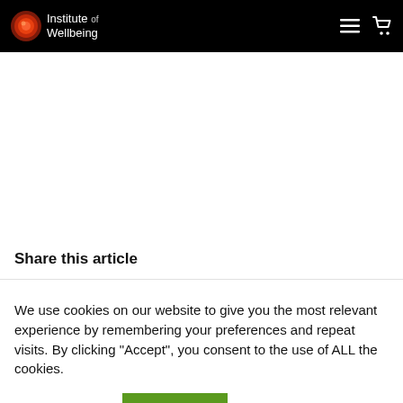Institute of Wellbeing
Share this article
We use cookies on our website to give you the most relevant experience by remembering your preferences and repeat visits. By clicking “Accept”, you consent to the use of ALL the cookies.
Cookie settings | ACCEPT